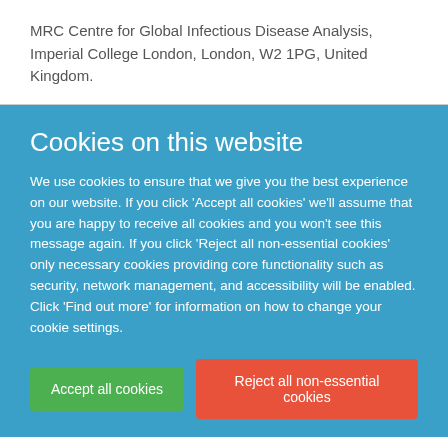MRC Centre for Global Infectious Disease Analysis, Imperial College London, London, W2 1PG, United Kingdom.
Cookies on this website
We use cookies to ensure that we give you the best experience on our website. If you click 'Accept all cookies' we'll assume that you are happy to receive all cookies and you won't see this message again. If you click 'Reject all non-essential cookies' only necessary cookies providing core functionality such as security, network management, and accessibility will be enabled. Click 'Find out more' for information on how to change your cookie settings.
Accept all cookies
Reject all non-essential cookies